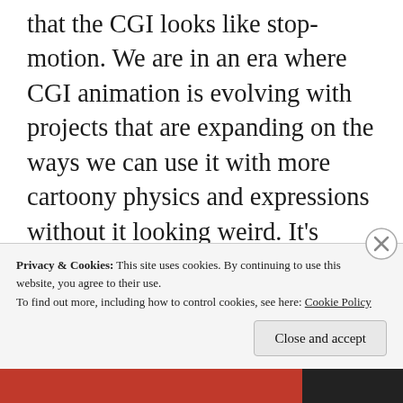that the CGI looks like stop-motion. We are in an era where CGI animation is evolving with projects that are expanding on the ways we can use it with more cartoony physics and expressions without it looking weird. It's some of the most expressive animation of 2021. They somehow made this all work by converting the 2D elements to CGI, and no matter how I feel about the rest of the film, it's incredibly impressive. I would love to watch a behind-the-scenes look at how they made this
Privacy & Cookies: This site uses cookies. By continuing to use this website, you agree to their use. To find out more, including how to control cookies, see here: Cookie Policy
Close and accept